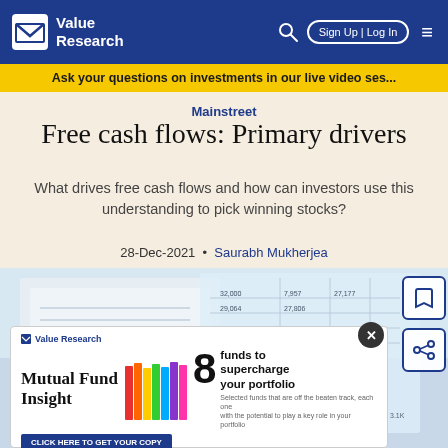Value Research — Sign Up | Log In
Ask your questions on investments in our live video ses...
Mainstreet
Free cash flows: Primary drivers
What drives free cash flows and how can investors use this understanding to pick winning stocks?
28-Dec-2021  •  Saurabh Mukherjea
[Figure (photo): Financial spreadsheet documents on a desk, partially visible behind a Mutual Fund Insight advertisement overlay]
[Figure (infographic): Mutual Fund Insight advertisement: '8 funds to supercharge your portfolio' with colorful binders and Value Research branding, CTA: CLICK HERE TO GET YOUR COPY]